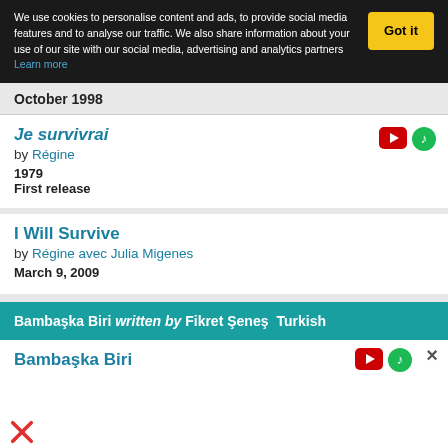We use cookies to personalise content and ads, to provide social media features and to analyse our traffic. We also share information about your use of our site with our social media, advertising and analytics partners Learn more   Got it
October 1998
Je survivrai
by Régine
1979
First release
I Will Survive
by Régine avec Julia Migenes
March 9, 2009
Bambaşka Biri written by Fikret Şeneş  Turkish
Bambaşka Biri